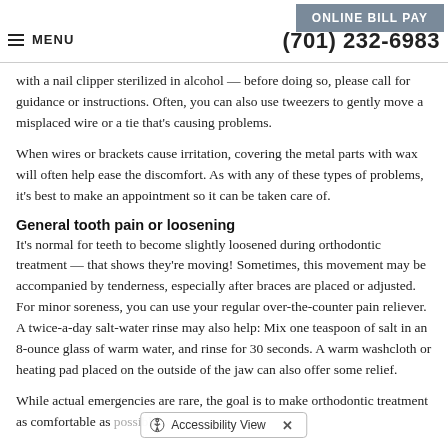ONLINE BILL PAY | MENU | (701) 232-6983
with a nail clipper sterilized in alcohol — before doing so, please call for guidance or instructions. Often, you can also use tweezers to gently move a misplaced wire or a tie that's causing problems.
When wires or brackets cause irritation, covering the metal parts with wax will often help ease the discomfort. As with any of these types of problems, it's best to make an appointment so it can be taken care of.
General tooth pain or loosening
It's normal for teeth to become slightly loosened during orthodontic treatment — that shows they're moving! Sometimes, this movement may be accompanied by tenderness, especially after braces are placed or adjusted. For minor soreness, you can use your regular over-the-counter pain reliever. A twice-a-day salt-water rinse may also help: Mix one teaspoon of salt in an 8-ounce glass of warm water, and rinse for 30 seconds. A warm washcloth or heating pad placed on the outside of the jaw can also offer some relief.
While actual emergencies are rare, the goal is to make orthodontic treatment as comfortable as possible.